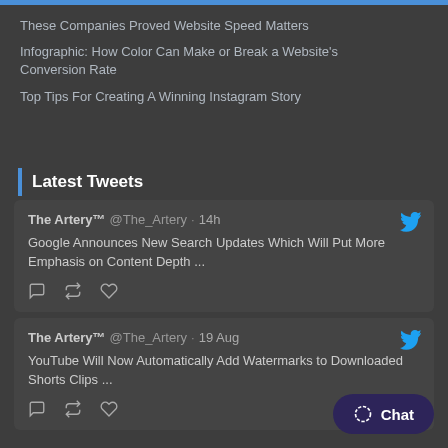These Companies Proved Website Speed Matters
Infographic: How Color Can Make or Break a Website's Conversion Rate
Top Tips For Creating A Winning Instagram Story
Latest Tweets
The Artery™ @The_Artery · 14h
Google Announces New Search Updates Which Will Put More Emphasis on Content Depth ...
The Artery™ @The_Artery · 19 Aug
YouTube Will Now Automatically Add Watermarks to Downloaded Shorts Clips ...